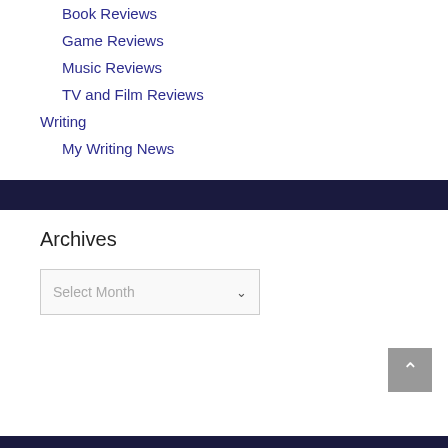Book Reviews
Game Reviews
Music Reviews
TV and Film Reviews
Writing
My Writing News
Archives
Select Month